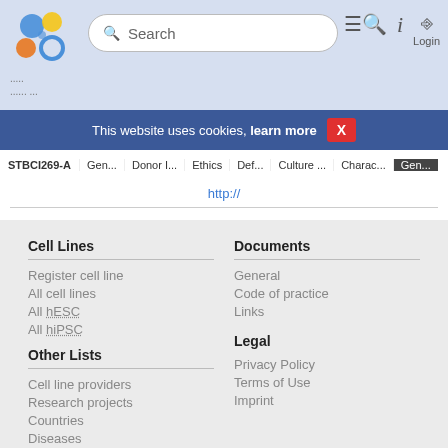Search | Login
This website uses cookies, learn more X
STBCI269-A | Gen... | Donor I... | Ethics | Def... | Culture ... | Charac... | Gen...
http://
Other Genotyping (Cell Line)
Cell Lines
Register cell line
All cell lines
All hESC
All hiPSC
Other Lists
Cell line providers
Research projects
Countries
Diseases
Documents
General
Code of practice
Links
Legal
Privacy Policy
Terms of Use
Imprint